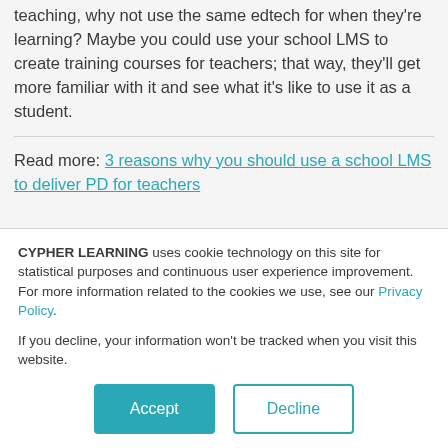teaching, why not use the same edtech for when they're learning? Maybe you could use your school LMS to create training courses for teachers; that way, they'll get more familiar with it and see what it's like to use it as a student.
Read more: 3 reasons why you should use a school LMS to deliver PD for teachers
CYPHER LEARNING uses cookie technology on this site for statistical purposes and continuous user experience improvement. For more information related to the cookies we use, see our Privacy Policy.
If you decline, your information won't be tracked when you visit this website.